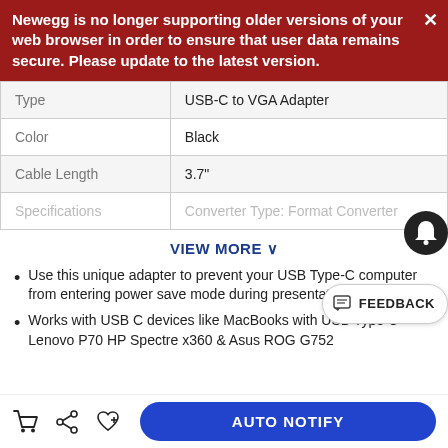Newegg is no longer supporting older versions of your web browser in order to ensure that user data remains secure. Please update to the latest version.
|  |  |
| --- | --- |
| Type | USB-C to VGA Adapter |
| Color | Black |
| Cable Length | 3.7" |
| Specifications | Converter Type: Format Converter |
VIEW MORE ˅
Use this unique adapter to prevent your USB Type-C computer from entering power save mode during presentations
Works with USB C devices like MacBooks with USB Type C Lenovo P70 HP Spectre x360 & Asus ROG G752
AUTO NOTIFY